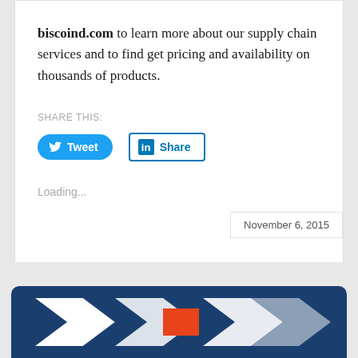biscoind.com to learn more about our supply chain services and to find get pricing and availability on thousands of products.
SHARE THIS:
[Figure (screenshot): Social sharing buttons: Tweet button (blue pill-shaped with Twitter bird icon) and Share button (white with LinkedIn blue border and 'in' logo)]
Loading...
November 6, 2015
[Figure (logo): Bisco Industries logo on dark navy blue rounded rectangle banner at bottom of page, partially visible]